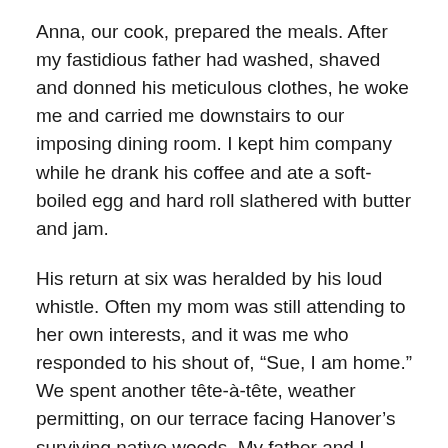Anna, our cook, prepared the meals. After my fastidious father had washed, shaved and donned his meticulous clothes, he woke me and carried me downstairs to our imposing dining room. I kept him company while he drank his coffee and ate a soft-boiled egg and hard roll slathered with butter and jam.
His return at six was heralded by his loud whistle. Often my mom was still attending to her own interests, and it was me who responded to his shout of, “Sue, I am home.” We spent another tête-à-tête, weather permitting, on our terrace facing Hanover’s surviving native woods. My father and I bonded. Far from preparing me to be a typical stay-at-home wife, the time we spent together inspired me to hope for professional exploration and adventure. I wanted to be like my dad, leading a fun-filled life out in the world.